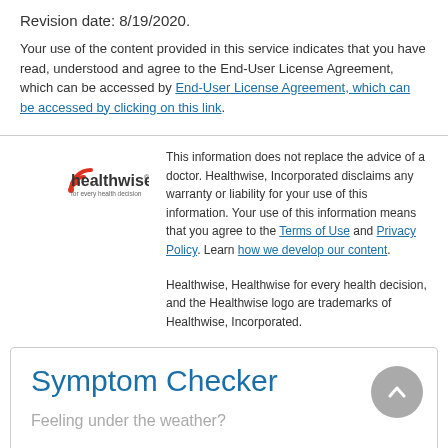Revision date: 8/19/2020.
Your use of the content provided in this service indicates that you have read, understood and agree to the End-User License Agreement, which can be accessed by End-User License Agreement, which can be accessed by clicking on this link.
[Figure (logo): Healthwise logo with red swirl icon and tagline 'for every health decision']
This information does not replace the advice of a doctor. Healthwise, Incorporated disclaims any warranty or liability for your use of this information. Your use of this information means that you agree to the Terms of Use and Privacy Policy. Learn how we develop our content.
Healthwise, Healthwise for every health decision, and the Healthwise logo are trademarks of Healthwise, Incorporated.
Symptom Checker
Feeling under the weather?